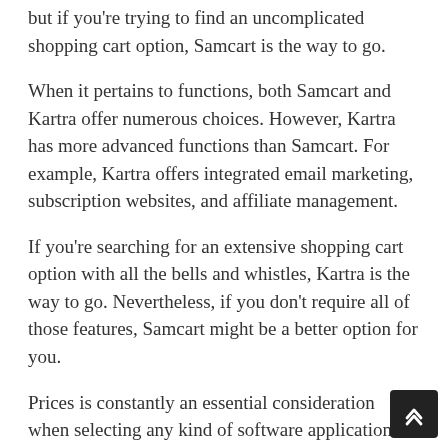but if you're trying to find an uncomplicated shopping cart option, Samcart is the way to go.
When it pertains to functions, both Samcart and Kartra offer numerous choices. However, Kartra has more advanced functions than Samcart. For example, Kartra offers integrated email marketing, subscription websites, and affiliate management.
If you're searching for an extensive shopping cart option with all the bells and whistles, Kartra is the way to go. Nevertheless, if you don't require all of those features, Samcart might be a better option for you.
Prices is constantly an essential consideration when selecting any kind of software application. Samcart and Kartra both have different rates structures. Samcart has a flat monthly charge, while Kartra has a